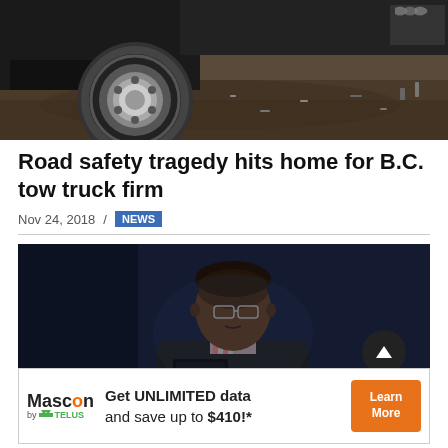[Figure (photo): Photo of a truck tire and vehicle chassis on muddy ground, close-up from below]
Road safety tragedy hits home for B.C. tow truck firm
Nov 24, 2018 / NEWS
[Figure (photo): Photo of a Black man wearing glasses and a dark sweater seated at a desk or podium, dark blue background]
Get UNLIMITED data and save up to $410!* — Mascon by Telus — Learn More